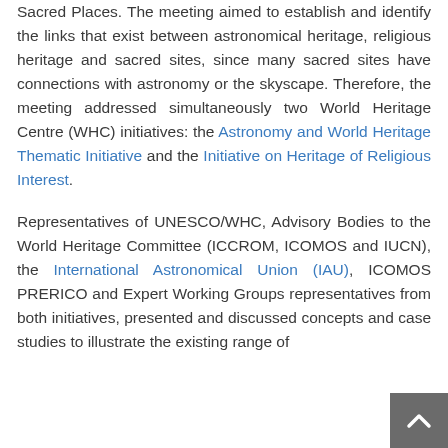Sacred Places. The meeting aimed to establish and identify the links that exist between astronomical heritage, religious heritage and sacred sites, since many sacred sites have connections with astronomy or the skyscape. Therefore, the meeting addressed simultaneously two World Heritage Centre (WHC) initiatives: the Astronomy and World Heritage Thematic Initiative and the Initiative on Heritage of Religious Interest. Representatives of UNESCO/WHC, Advisory Bodies to the World Heritage Committee (ICCROM, ICOMOS and IUCN), the International Astronomical Union (IAU), ICOMOS PRERICO and Expert Working Groups representatives from both initiatives, presented and discussed concepts and case studies to illustrate the existing range of